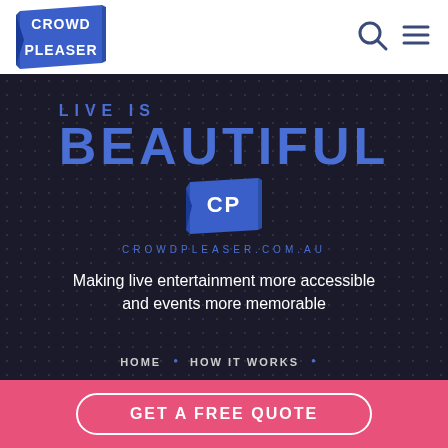[Figure (logo): Crowd Pleaser logo: blue banner-shaped badge with white text CROWD PLEASER]
[Figure (other): Search icon (magnifying glass) and hamburger menu icon in dark blue/grey]
LIVE IS BEAUTIFUL
[Figure (logo): CP logo badge in blue]
CROWDPLEASER.COM.AU
Making live entertainment more accessible and events more memorable
HOME • HOW IT WORKS •
GET A FREE QUOTE